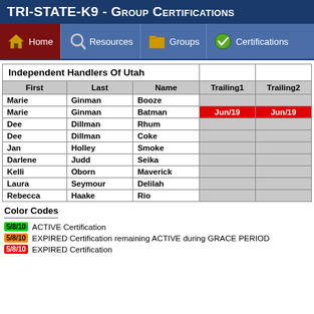TRI-STATE-K9 - Group Certifications
[Figure (screenshot): Navigation bar with Home, Resources, Groups, Certifications menu items]
| First | Last | Name | Trailing1 | Trailing2 |
| --- | --- | --- | --- | --- |
| Marie | Ginman | Booze |  |  |
| Marie | Ginman | Batman | Jun/19 | Jun/19 |
| Dee | Dillman | Rhum |  |  |
| Dee | Dillman | Coke |  |  |
| Jan | Holley | Smoke |  |  |
| Darlene | Judd | Seika |  |  |
| Kelli | Oborn | Maverick |  |  |
| Laura | Seymour | Delilah |  |  |
| Rebecca | Haake | Rio |  |  |
Color Codes
5/8/10 ACTIVE Certification
5/8/10 EXPIRED Certification remaining ACTIVE during GRACE PERIOD
5/8/10 EXPIRED Certification